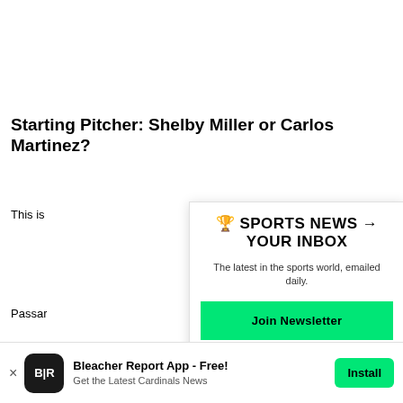Starting Pitcher: Shelby Miller or Carlos Martinez?
This is
Passar
Cardin
bottom
argues
he'll re
Micha
Miller
first ha
[Figure (other): Newsletter signup modal overlay: '🏆 SPORTS NEWS → YOUR INBOX' with subtitle 'The latest in the sports world, emailed daily.' and green 'Join Newsletter' button and 'Maybe Later' link]
Bleacher Report App - Free! Get the Latest Cardinals News  Install